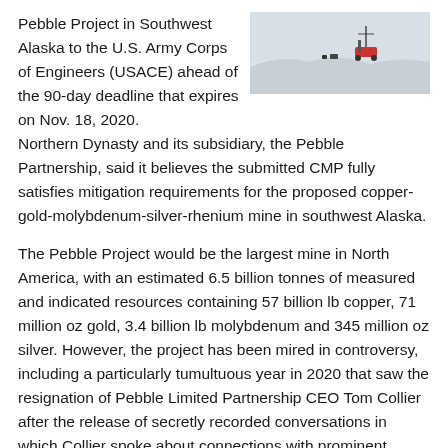Pebble Project in Southwest Alaska to the U.S. Army Corps of Engineers (USACE) ahead of the 90-day deadline that expires on Nov. 18, 2020.
[Figure (photo): A snowy landscape with what appears to be drilling or mining equipment in the background, partially obscured by snow and sky.]
Northern Dynasty and its subsidiary, the Pebble Partnership, said it believes the submitted CMP fully satisfies mitigation requirements for the proposed copper-gold-molybdenum-silver-rhenium mine in southwest Alaska.
The Pebble Project would be the largest mine in North America, with an estimated 6.5 billion tonnes of measured and indicated resources containing 57 billion lb copper, 71 million oz gold, 3.4 billion lb molybdenum and 345 million oz silver. However, the project has been mired in controversy, including a particularly tumultuous year in 2020 that saw the resignation of Pebble Limited Partnership CEO Tom Collier after the release of secretly recorded conversations in which Collier spoke about connections with prominent political figures.